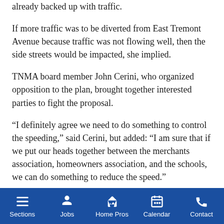already backed up with traffic.
If more traffic was to be diverted from East Tremont Avenue because traffic was not flowing well, then the side streets would be impacted, she implied.
TNMA board member John Cerini, who organized opposition to the plan, brought together interested parties to fight the proposal.
“I definitely agree we need to do something to control the speeding,” said Cerini, but added: “I am sure that if we put our heads together between the merchants association, homeowners association, and the schools, we can do something to reduce the speed.”
Sections | Jobs | Home Pros | Calendar | Contact